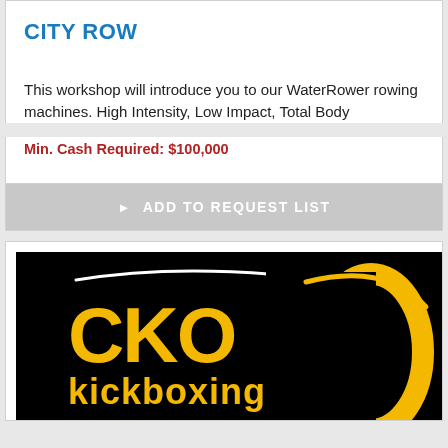CITY ROW
This workshop will introduce you to our WaterRower rowing machines. High Intensity, Low Impact, Total Body
Min. Cash Required: $100,000
ADD TO REQUEST LIST
[Figure (logo): CKO Kickboxing logo — white swoosh line above yellow bold text 'CKO' and 'kickboxing' on a black background, with a yellow oval swoosh on the right and a registered trademark symbol.]